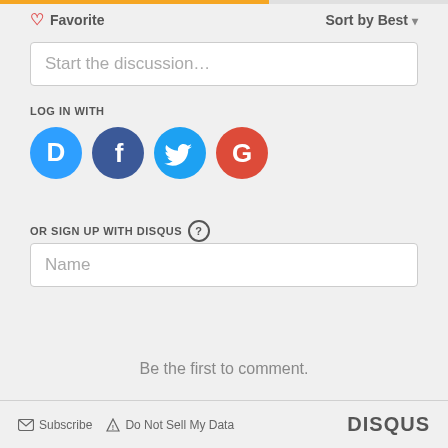Favorite
Sort by Best
Start the discussion…
LOG IN WITH
[Figure (infographic): Four social login icons: Disqus (blue circle with D), Facebook (dark blue circle with f), Twitter (light blue circle with bird), Google (red circle with G)]
OR SIGN UP WITH DISQUS
Name
Be the first to comment.
Subscribe  Do Not Sell My Data  DISQUS